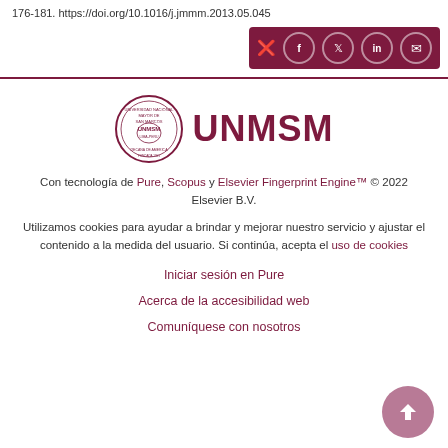176-181. https://doi.org/10.1016/j.jmmm.2013.05.045
[Figure (logo): Social sharing bar with icons for share, Facebook, Twitter, LinkedIn, and email on dark red background]
[Figure (logo): UNMSM university seal and logotype in dark red]
Con tecnología de Pure, Scopus y Elsevier Fingerprint Engine™ © 2022 Elsevier B.V.
Utilizamos cookies para ayudar a brindar y mejorar nuestro servicio y ajustar el contenido a la medida del usuario. Si continúa, acepta el uso de cookies
Iniciar sesión en Pure
Acerca de la accesibilidad web
Comuníquese con nosotros